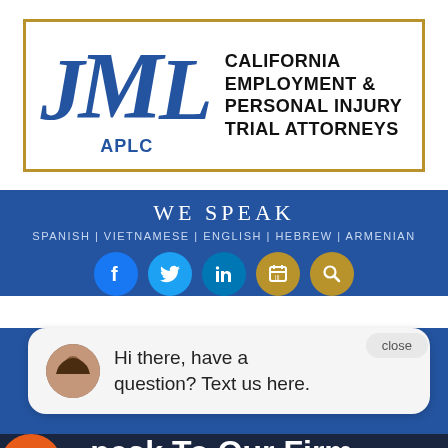[Figure (logo): JML APLC law firm logo with blue serif JML letters and text: CALIFORNIA EMPLOYMENT & PERSONAL INJURY TRIAL ATTORNEYS, surrounded by gold border]
WE SPEAK
SPANISH | VIETNAMESE | ENGLISH | HEBREW | ARMENIAN
[Figure (infographic): Social media icons: Facebook, Twitter, LinkedIn, a calendar/book icon, and a search icon]
[Figure (screenshot): Chat popup with close button and avatar of a woman, text: Hi there, have a question? Text us here.]
Speak To Our Firm About Your Case